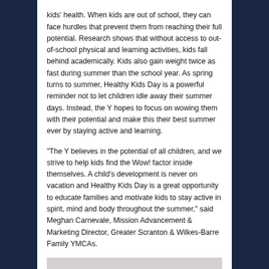kids' health. When kids are out of school, they can face hurdles that prevent them from reaching their full potential. Research shows that without access to out-of-school physical and learning activities, kids fall behind academically. Kids also gain weight twice as fast during summer than the school year. As spring turns to summer, Healthy Kids Day is a powerful reminder not to let children idle away their summer days. Instead, the Y hopes to focus on wowing them with their potential and make this their best summer ever by staying active and learning.
“The Y believes in the potential of all children, and we strive to help kids find the Wow! factor inside themselves. A child’s development is never on vacation and Healthy Kids Day is a great opportunity to educate families and motivate kids to stay active in spirit, mind and body throughout the summer,” said Meghan Carnevale, Mission Advancement & Marketing Director, Greater Scranton & Wilkes-Barre Family YMCAs.
[Figure (photo): Partial image visible at the bottom of the page, light gray background with partial content]